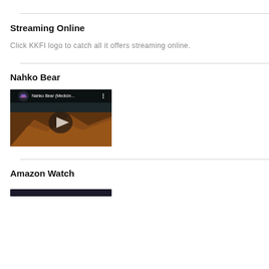Streaming Online
Click KKFI logo to catch all it offers streaming online.
Nahko Bear
[Figure (screenshot): YouTube video thumbnail for Nahko Bear (Medicin... with play button overlay, showing rocky landscape with dark sky]
Amazon Watch